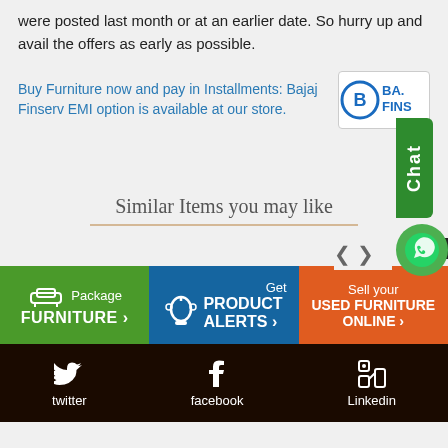were posted last month or at an earlier date. So hurry up and avail the offers as early as possible.
Buy Furniture now and pay in Installments: Bajaj Finserv EMI option is available at our store.
[Figure (logo): Bajaj Finserv logo with circular B icon and text BA. FINS]
[Figure (illustration): Green Chat widget on right side with WhatsApp phone icon bubble]
Similar Items you may like
[Figure (infographic): Three action banners: Package FURNITURE, Get PRODUCT ALERTS, Sell your USED FURNITURE ONLINE with navigation arrows and X close button]
[Figure (infographic): Social media footer bar with Twitter, Facebook, Linkedin icons on dark brown background]